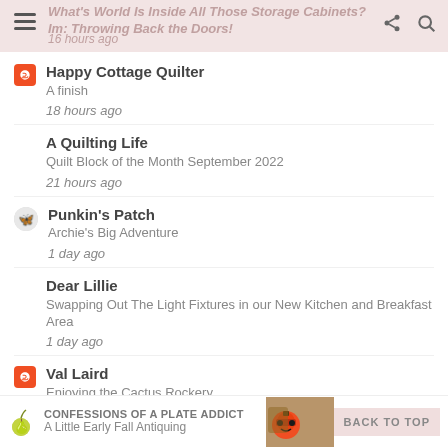What's World Is Inside All Those Storage Cabinets? Im: Throwing Back the Doors! 16 hours ago
Happy Cottage Quilter – A finish – 18 hours ago
A Quilting Life – Quilt Block of the Month September 2022 – 21 hours ago
Punkin's Patch – Archie's Big Adventure – 1 day ago
Dear Lillie – Swapping Out The Light Fixtures in our New Kitchen and Breakfast Area – 1 day ago
Val Laird – Enjoying the Cactus Rockery – 5 days ago
CONFESSIONS OF A PLATE ADDICT – A Little Early Fall Antiquing – BACK TO TOP